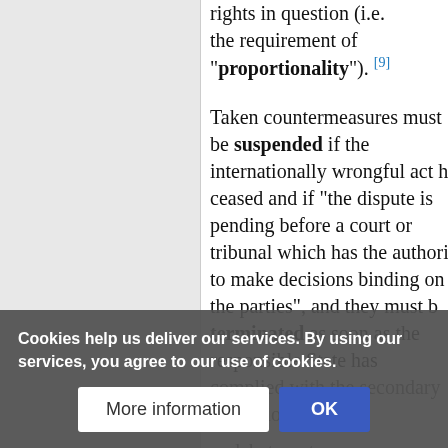rights in question (i.e. the requirement of "proportionality").[9]
Taken countermeasures must be suspended if the internationally wrongful act has ceased and if "the dispute is pending before a court or tribunal which has the authority to make decisions binding on the parties", and they must be terminated as soon as the responsible State has complied with the secondary obligations.
...debate as to ...other states that have no...
Cookies help us deliver our services. By using our services, you agree to our use of cookies.